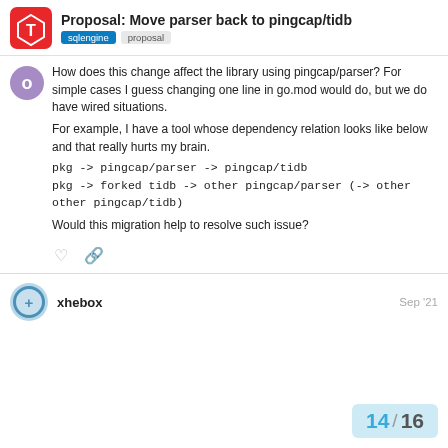Proposal: Move parser back to pingcap/tidb | sqlengine | proposal
How does this change affect the library using pingcap/parser? For simple cases I guess changing one line in go.mod would do, but we do have wired situations.
For example, I have a tool whose dependency relation looks like below and that really hurts my brain.
pkg -> pingcap/parser -> pingcap/tidb
pkg -> forked tidb -> other pingcap/parser (-> other other pingcap/tidb)

Would this migration help to resolve such issue?
xhebox
Sep '21
14 / 16